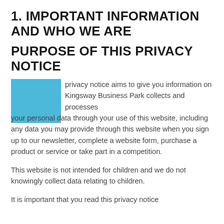1. IMPORTANT INFORMATION AND WHO WE ARE
PURPOSE OF THIS PRIVACY NOTICE
privacy notice aims to give you information on Kingsway Business Park collects and processes your personal data through your use of this website, including any data you may provide through this website when you sign up to our newsletter, complete a website form, purchase a product or service or take part in a competition.
This website is not intended for children and we do not knowingly collect data relating to children.
It is important that you read this privacy notice